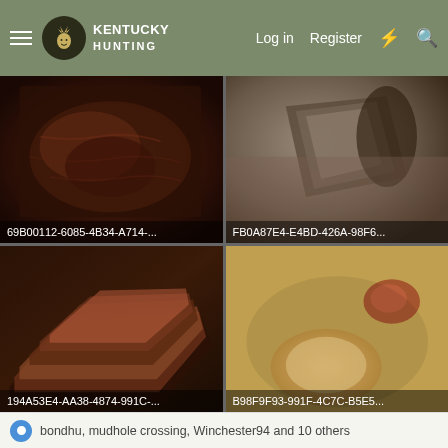Kentucky Hunting — Log in  Register
[Figure (photo): Top-left food photo of smoked/grilled meat with label '69B00112-6085-4B34-A714-...']
[Figure (photo): Top-right food photo of sliced smoked meat with label 'FB0A87E4-E4BD-426A-98F6...']
[Figure (photo): Bottom-left food photo of sliced smoked brisket with label '194A53E4-AA38-4874-991C-...']
[Figure (photo): Bottom-right food photo of meat on a board with label 'B98F9F93-991F-4C7C-B5E5...']
bondhu, mudhole crossing, Winchester94 and 10 others